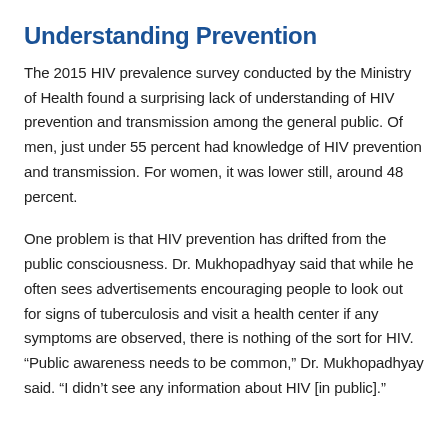Understanding Prevention
The 2015 HIV prevalence survey conducted by the Ministry of Health found a surprising lack of understanding of HIV prevention and transmission among the general public. Of men, just under 55 percent had knowledge of HIV prevention and transmission. For women, it was lower still, around 48 percent.
One problem is that HIV prevention has drifted from the public consciousness. Dr. Mukhopadhyay said that while he often sees advertisements encouraging people to look out for signs of tuberculosis and visit a health center if any symptoms are observed, there is nothing of the sort for HIV. “Public awareness needs to be common,” Dr. Mukhopadhyay said. “I didn’t see any information about HIV [in public].”